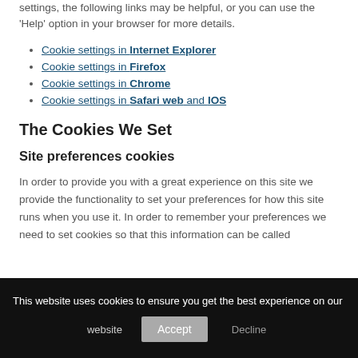settings, the following links may be helpful, or you can use the 'Help' option in your browser for more details.
Cookie settings in Internet Explorer
Cookie settings in Firefox
Cookie settings in Chrome
Cookie settings in Safari web and IOS
The Cookies We Set
Site preferences cookies
In order to provide you with a great experience on this site we provide the functionality to set your preferences for how this site runs when you use it. In order to remember your preferences we need to set cookies so that this information can be called
This website uses cookies to ensure you get the best experience on our website
Accept
Decline